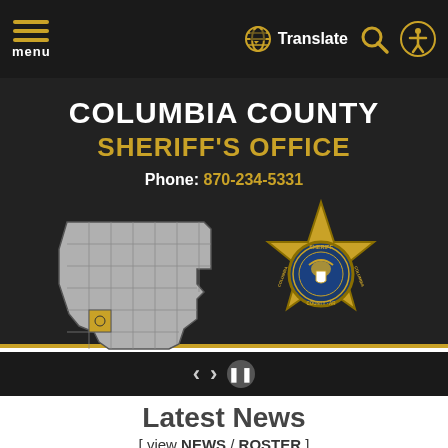menu | Translate
COLUMBIA COUNTY
SHERIFF'S OFFICE
Phone: 870-234-5331
[Figure (map): Outline map of Arkansas with Columbia County highlighted in gold, labeled 'Arkansas']
[Figure (illustration): Gold sheriff's star badge for Columbia County Sheriff's Office, AR]
Latest News
[ view NEWS / ROSTER ]